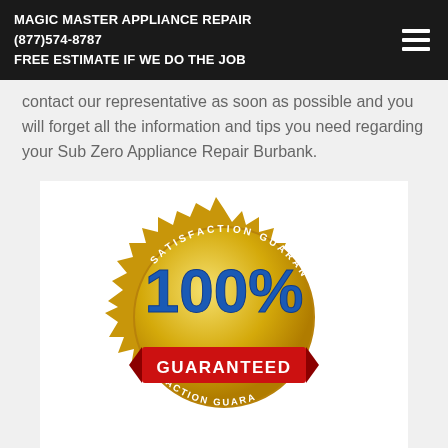MAGIC MASTER APPLIANCE REPAIR
(877)574-8787
FREE ESTIMATE IF WE DO THE JOB
...contact our representative as soon as possible and you will forget all the information and tips you need regarding your Sub Zero Appliance Repair Burbank.
[Figure (illustration): Gold satisfaction guaranteed seal badge with '100%' in blue text and a red ribbon banner reading 'GUARANTEED'. The outer ring reads 'SATISFACTION GUARANTEED' in white text on gold.]
Certainly, a professional team!